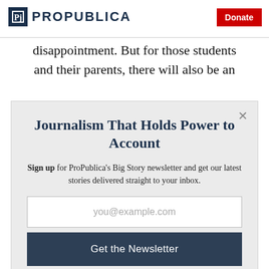ProPublica | Donate
disappointment. But for those students and their parents, there will also be an
Journalism That Holds Power to Account
Sign up for ProPublica's Big Story newsletter and get our latest stories delivered straight to your inbox.
you@example.com
Get the Newsletter
No thanks, I'm all set
This site is protected by reCAPTCHA and the Google Privacy Policy and Terms of Service apply.